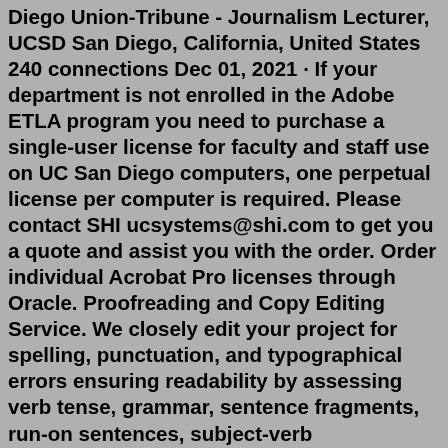Diego Union-Tribune - Journalism Lecturer, UCSD San Diego, California, United States 240 connections Dec 01, 2021 · If your department is not enrolled in the Adobe ETLA program you need to purchase a single-user license for faculty and staff use on UC San Diego computers, one perpetual license per computer is required. Please contact SHI ucsystems@shi.com to get you a quote and assist you with the order. Order individual Acrobat Pro licenses through Oracle. Proofreading and Copy Editing Service. We closely edit your project for spelling, punctuation, and typographical errors ensuring readability by assessing verb tense, grammar, sentence fragments, run-on sentences, subject-verb disagreement, comma splices, and other usage. For editing, we concentrate on logical flow, organization, structure ... Address and Phone. Mailing Address 4575 VIEWRIDGE AVE. SAN DIEGO, CA 92123. Main Station Number 858-571-5151. Sales 858-505-5120. Newsroom/Tipline 858-571-NEWS (6397) Address and Phone. Mailing Address 4575 VIEWRIDGE AVE. SAN DIEGO, CA